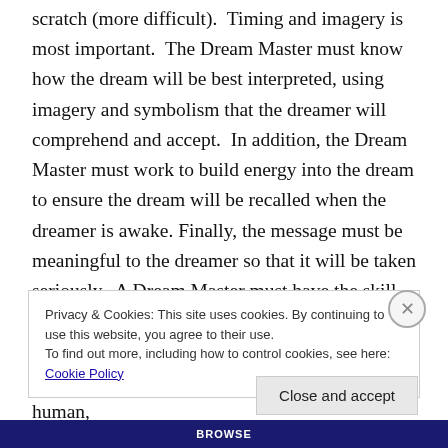scratch (more difficult).  Timing and imagery is most important.  The Dream Master must know how the dream will be best interpreted, using imagery and symbolism that the dreamer will comprehend and accept.  In addition, the Dream Master must work to build energy into the dream to ensure the dream will be recalled when the dreamer is awake. Finally, the message must be meaningful to the dreamer so that it will be taken seriously.  A Dream Master must have the skill to work between the lighter energy of the spirit world and the dense energy of Earth, crafting energy into shapes and symbols in the mind of a human,
Privacy & Cookies: This site uses cookies. By continuing to use this website, you agree to their use.
To find out more, including how to control cookies, see here: Cookie Policy
Close and accept